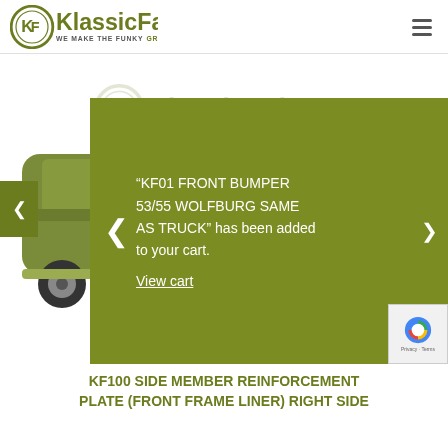KlassicFab — WE MAKE THE FUNKY GREEN PANELS
[Figure (screenshot): KlassicFab website screenshot showing a green VW bus toy on a white background with a green notification overlay popup saying '"KF01 FRONT BUMPER 53/55 WOLFBURG SAME AS TRUCK" has been added to your cart.' with a 'View cart' link. Left side nav arrow and right side nav arrow visible.]
"KF01 FRONT BUMPER 53/55 WOLFBURG SAME AS TRUCK" has been added to your cart.
View cart
KF100 SIDE MEMBER REINFORCEMENT PLATE (FRONT FRAME LINER) RIGHT SIDE